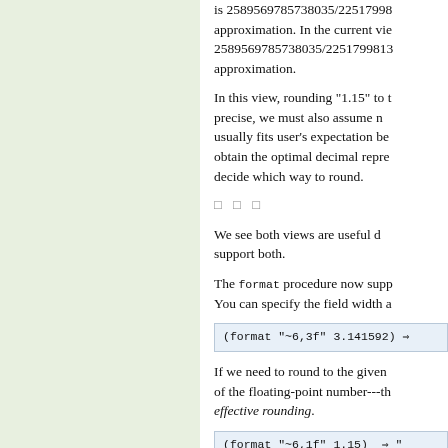is 2589569785738035/22517998 approximation. In the current view, 2589569785738035/2251799813685248 is the better approximation.
In this view, rounding "1.15" to the nearest... precise, we must also assume more... usually fits user's expectation be... obtain the optimal decimal repre... decide which way to round.
□ □ □
We see both views are useful d... support both.
The format procedure now supp... You can specify the field width a...
(format "~6,3f" 3.141592) ⇒
If we need to round to the given... of the floating-point number---th... effective rounding.
(format "~6,1f" 1.15) ⇒ "
However, if you need the latter v...